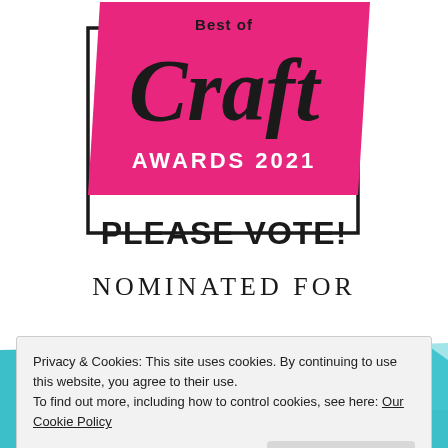[Figure (logo): Best of Craft Awards 2021 logo — pink parallelogram with 'Craft' in large serif italic font and 'AWARDS 2021' in white bold sans-serif, framed by a black outline rectangle, on white background]
PLEASE VOTE!
NOMINATED FOR
Privacy & Cookies: This site uses cookies. By continuing to use this website, you agree to their use. To find out more, including how to control cookies, see here: Our Cookie Policy
Close and accept